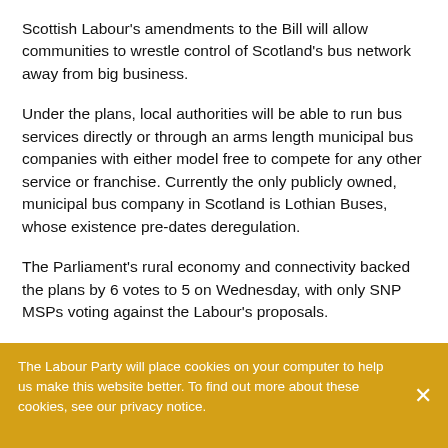Scottish Labour's amendments to the Bill will allow communities to wrestle control of Scotland's bus network away from big business.
Under the plans, local authorities will be able to run bus services directly or through an arms length municipal bus companies with either model free to compete for any other service or franchise. Currently the only publicly owned, municipal bus company in Scotland is Lothian Buses, whose existence pre-dates deregulation.
The Parliament's rural economy and connectivity backed the plans by 6 votes to 5 on Wednesday, with only SNP MSPs voting against the Labour's proposals.
The Labour Party will place cookies on your computer to help us make this website better. To find out more about these cookies, see our privacy notice.